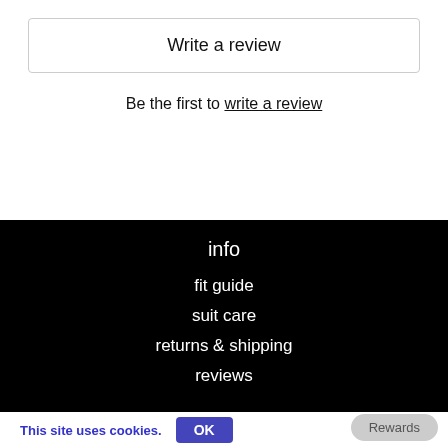Write a review
Be the first to write a review
info
fit guide
suit care
returns & shipping
reviews
This site uses cookies. OK  Rewards